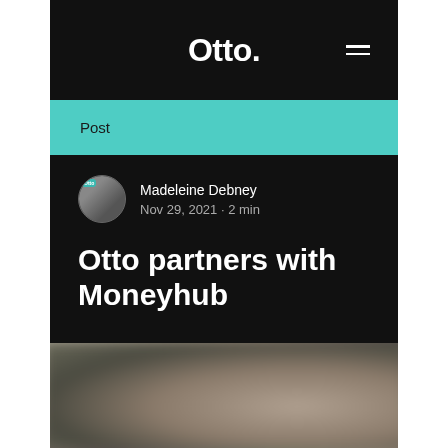Otto.
Post
Madeleine Debney
Nov 29, 2021 · 2 min
Otto partners with Moneyhub
[Figure (photo): Blurred background photo, partially visible at bottom of page]